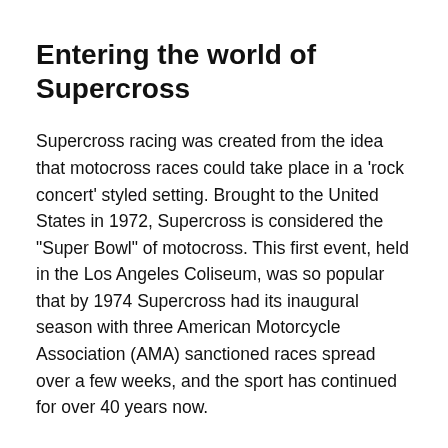Entering the world of Supercross
Supercross racing was created from the idea that motocross races could take place in a 'rock concert' styled setting. Brought to the United States in 1972, Supercross is considered the "Super Bowl" of motocross. This first event, held in the Los Angeles Coliseum, was so popular that by 1974 Supercross had its inaugural season with three American Motorcycle Association (AMA) sanctioned races spread over a few weeks, and the sport has continued for over 40 years now.
Monster Energy Supercross is an indoor racing series with 250 SX and 450 SX classes. If you